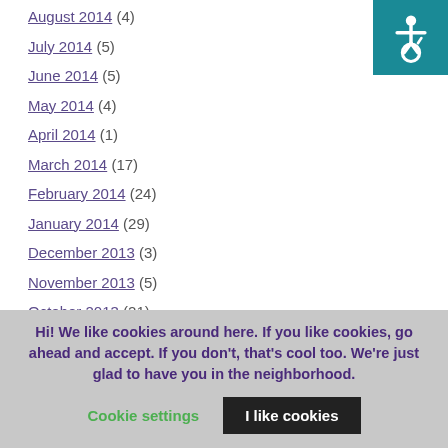August 2014 (4)
July 2014 (5)
June 2014 (5)
May 2014 (4)
April 2014 (1)
March 2014 (17)
February 2014 (24)
January 2014 (29)
December 2013 (3)
November 2013 (5)
October 2013 (21)
September 2013 (13)
August 2013 (3)
July 2013 (2)
May 2013 (13)
Hi! We like cookies around here. If you like cookies, go ahead and accept. If you don't, that's cool too. We're just glad to have you in the neighborhood.
Cookie settings | I like cookies